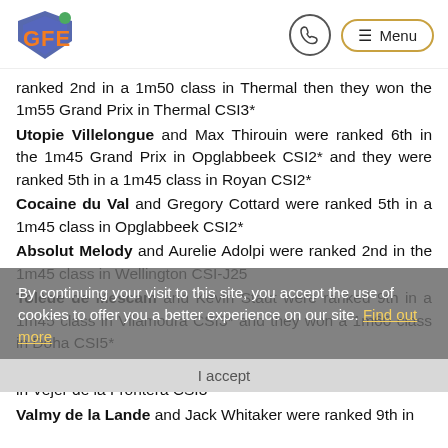GFE — navigation header with logo, phone icon, and Menu button
ranked 2nd in a 1m50 class in Thermal then they won the 1m55 Grand Prix in Thermal CSI3*
Utopie Villelongue and Max Thirouin were ranked 6th in the 1m45 Grand Prix in Opglabbeek CSI2* and they were ranked 5th in a 1m45 class in Royan CSI2*
Cocaine du Val and Gregory Cottard were ranked 5th in a 1m45 class in Opglabbeek CSI2*
Absolut Melody and Aurelie Adolpi were ranked 2nd in the 1m45 class in Wellington CSI-J25
Tolède de Mescam and Kevin Staut were ranked 9th in a 1m45 class in Vilamoura CSI3* and they won a 1m60 class in Doha CSI5*
Grupo Prom Milton and Jerome Guery won a 1m50 class in Vejer de la Frontera CSI3*
Valmy de la Lande and Jack Whitaker were ranked 9th in
By continuing your visit to this site, you accept the use of cookies to offer you a better experience on our site. Find out more
I accept